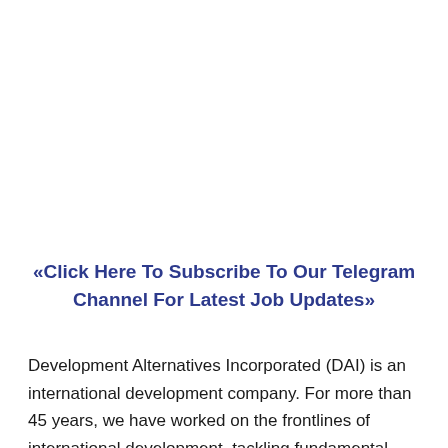«Click Here To Subscribe To Our Telegram Channel For Latest Job Updates»
Development Alternatives Incorporated (DAI) is an international development company. For more than 45 years, we have worked on the frontlines of international development, tackling fundamental social and economic development problems caused by inefficient markets.